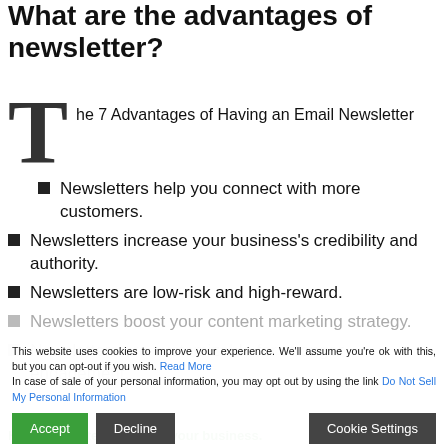What are the advantages of newsletter?
The 7 Advantages of Having an Email Newsletter
Newsletters help you connect with more customers.
Newsletters increase your business's credibility and authority.
Newsletters are low-risk and high-reward.
Newsletters boost your content marketing strategy.
Newsletters are customizable for stronger engagement.
This website uses cookies to improve your experience. We'll assume you're ok with this, but you can opt-out if you wish. Read More In case of sale of your personal information, you may opt out by using the link Do Not Sell My Personal Information
How newsletters can help your business.